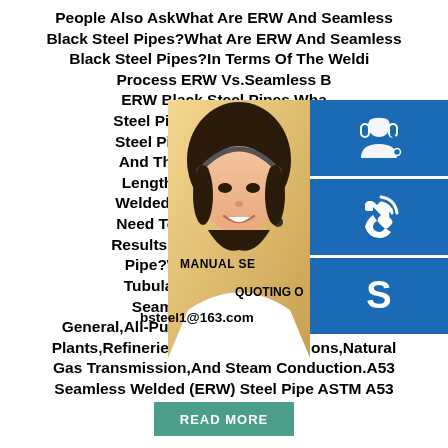People Also AskWhat Are ERW And Seamless Black Steel Pipes?What Are ERW And Seamless Black Steel Pipes?In Terms Of The Welding Process ERW Vs.Seamless B ERW Black Steel Pipes What Steel Pipes? Electric Resistan Steel Pipes Are Manufactured And Then Welding It Longitu Length.Therefore ERW Stee Welded Joint In Its Cross-Sec Need To Know About Black S Results For This QuestionWha Pipe?What Is Steel Tubular Tubular Products ASTM/AS Seamless And Welded St General,All-Purpose Pipe Used In Generator Plants,Refineries,Compressor Stations,Natural Gas Transmission,And Steam Conduction.A53 Seamless Welded (ERW) Steel Pipe ASTM A53 Welded
[Figure (photo): Woman with headset smiling, customer service representative]
[Figure (infographic): Three blue icon buttons: headset/customer service icon, phone/call icon, Skype icon. Overlay text: MANUAL SE, QUOTING O, bsteel1@163.com]
READ MORE